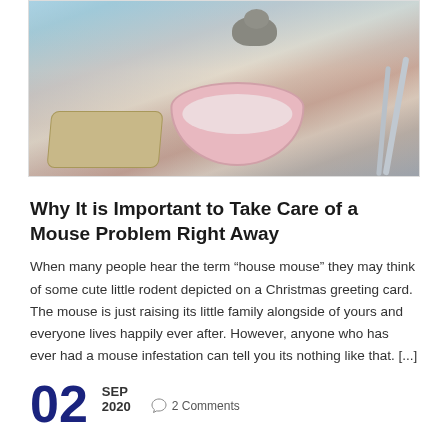[Figure (photo): A mouse sitting in a pink bowl surrounded by dirty dishes, a wooden tray, and cutlery on a table]
Why It is Important to Take Care of a Mouse Problem Right Away
When many people hear the term “house mouse” they may think of some cute little rodent depicted on a Christmas greeting card. The mouse is just raising its little family alongside of yours and everyone lives happily ever after. However, anyone who has ever had a mouse infestation can tell you its nothing like that. [...]
02 SEP 2020   2 Comments